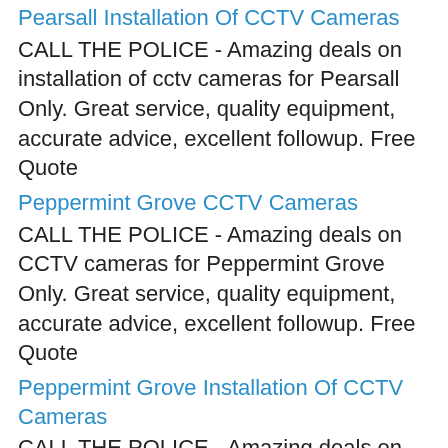Pearsall Installation Of CCTV Cameras
CALL THE POLICE - Amazing deals on installation of cctv cameras for Pearsall Only. Great service, quality equipment, accurate advice, excellent followup. Free Quote
Peppermint Grove CCTV Cameras
CALL THE POLICE - Amazing deals on CCTV cameras for Peppermint Grove Only. Great service, quality equipment, accurate advice, excellent followup. Free Quote
Peppermint Grove Installation Of CCTV Cameras
CALL THE POLICE - Amazing deals on installation of cctv cameras for Peppermint Grove Only. Great service, quality equipment, accurate advice, excellent followup. Free Quote
Peron CCTV Cameras
CALL THE POLICE - Amazing deals on CCTV cameras for Peron Only. Great service, quality equipment,